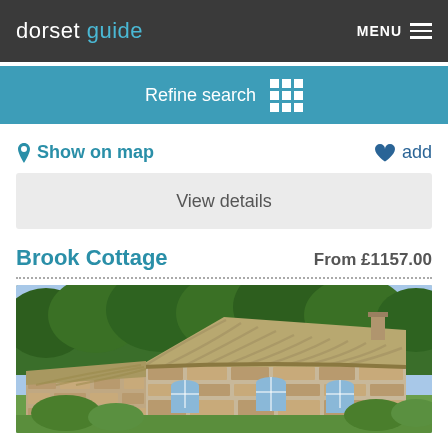dorset guide | MENU
Refine search
Show on map   add
View details
Brook Cottage
From £1157.00
[Figure (photo): Thatched cottage with stone walls surrounded by green trees under a blue sky]